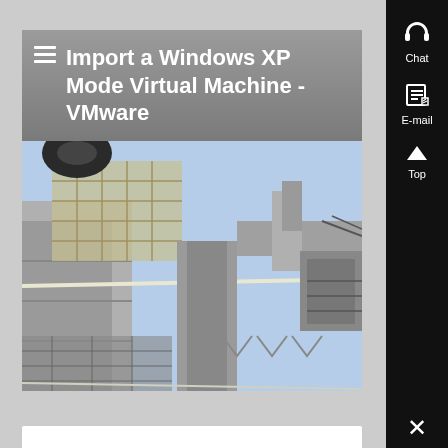Import a Windows XP Mode Virtual Machine - VMware
[Figure (photo): Upward-looking photograph of a metal industrial structure or communications tower with scaffolding and cables against a blue sky]
Chat
E-mail
Top
×